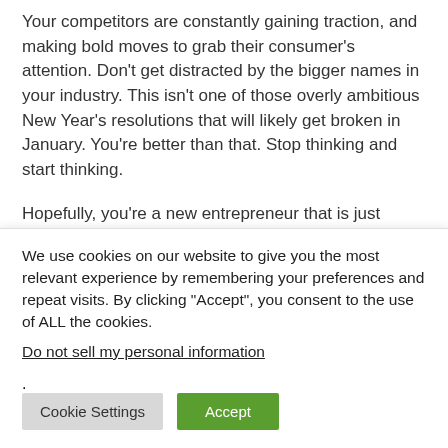Your competitors are constantly gaining traction, and making bold moves to grab their consumer's attention. Don't get distracted by the bigger names in your industry. This isn't one of those overly ambitious New Year's resolutions that will likely get broken in January. You're better than that. Stop thinking and start thinking.
Hopefully, you're a new entrepreneur that is just getting started, and you're already thinking about starting your...
We use cookies on our website to give you the most relevant experience by remembering your preferences and repeat visits. By clicking "Accept", you consent to the use of ALL the cookies.
Do not sell my personal information.